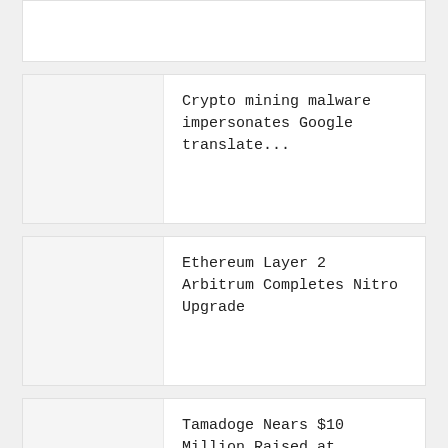[Figure (other): Partial news card image placeholder at top of page]
Crypto mining malware impersonates Google translate...
[Figure (other): News card image placeholder for crypto mining malware article]
Ethereum Layer 2 Arbitrum Completes Nitro Upgrade
[Figure (other): News card image placeholder for Ethereum Layer 2 Arbitrum article]
Tamadoge Nears $10 Million Raised at Presale
[Figure (other): News card image placeholder for Tamadoge article]